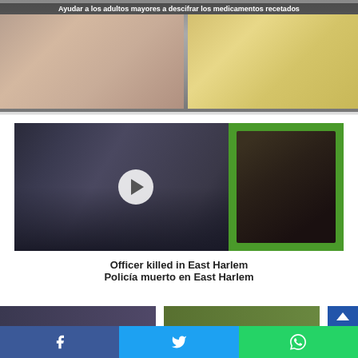[Figure (photo): Two people with hands raised, split image showing a person in white/light clothing on left and a person in yellow/light clothing on right]
Ayudar a los adultos mayores a descifrar los medicamentos recetados
[Figure (photo): Press conference video thumbnail showing officials including NYC mayor Bill de Blasio, with a police officer portrait photo on green background on the right side. Has a video play button overlay.]
Officer killed in East Harlem
Poliicía muerto en East Harlem
[Figure (photo): Second set of images at bottom showing press conference on left and NYPD badge/cap on right]
Facebook  Twitter  WhatsApp